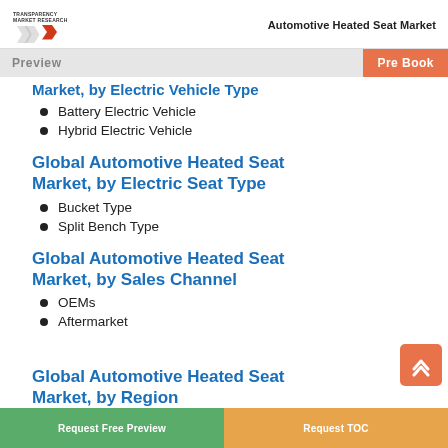Automotive Heated Seat Market
Global Automotive Heated Seat Market, by Electric Vehicle Type
Battery Electric Vehicle
Hybrid Electric Vehicle
Global Automotive Heated Seat Market, by Electric Seat Type
Bucket Type
Split Bench Type
Global Automotive Heated Seat Market, by Sales Channel
OEMs
Aftermarket
Global Automotive Heated Seat Market, by Region